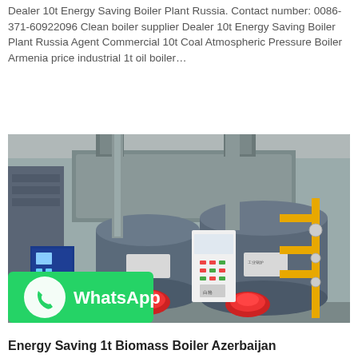Dealer 10t Energy Saving Boiler Plant Russia. Contact number: 0086-371-60922096 Clean boiler supplier Dealer 10t Energy Saving Boiler Plant Russia Agent Commercial 10t Coal Atmospheric Pressure Boiler Armenia price industrial 1t oil boiler…
Get Price
[Figure (photo): Industrial boiler room showing two large horizontal steam boilers with red burners, vertical metal pipes and ducts, yellow gas pipework on the right, a white control panel in the center, and a smaller blue auxiliary unit on the left. A WhatsApp contact badge overlays the bottom-left of the photo.]
Energy Saving 1t Biomass Boiler Azerbaijan